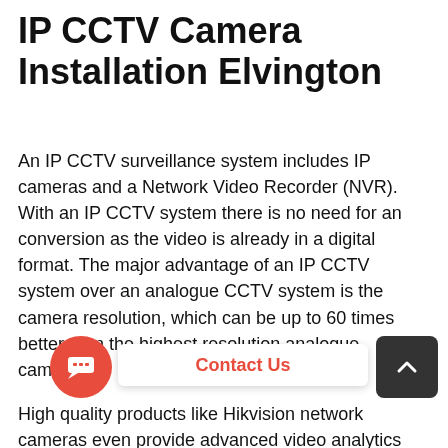IP CCTV Camera Installation Elvington
An IP CCTV surveillance system includes IP cameras and a Network Video Recorder (NVR). With an IP CCTV system there is no need for an conversion as the video is already in a digital format. The major advantage of an IP CCTV system over an analogue CCTV system is the camera resolution, which can be up to 60 times better than the highest resolution analogue camera.
High quality products like Hikvision network cameras even provide advanced video analytics features, such as motion detection, audio detection and tampering alarms. For this reason, as with the analogue CCTV s, IP CCTV system video is accessible from ere via computer, iPhone, iPad, Android Phone.